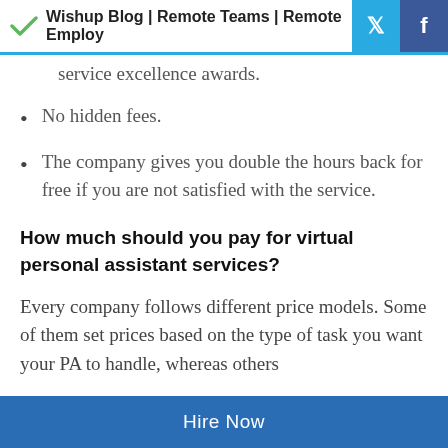Wishup Blog | Remote Teams | Remote Employ
service excellence awards.
No hidden fees.
The company gives you double the hours back for free if you are not satisfied with the service.
How much should you pay for virtual personal assistant services?
Every company follows different price models. Some of them set prices based on the type of task you want your PA to handle, whereas others
Hire Now